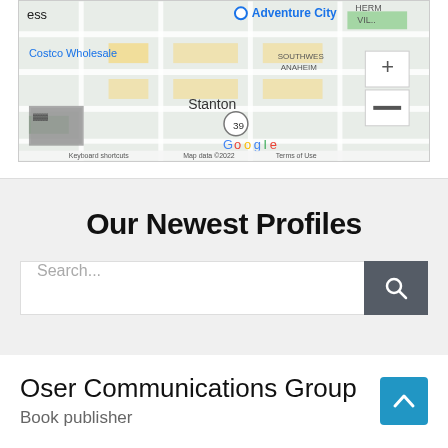[Figure (map): Google Maps screenshot showing Adventure City, Stanton, Costco Wholesale, Southwest Anaheim area with zoom controls and Google branding]
Our Newest Profiles
Search...
Oser Communications Group
Book publisher